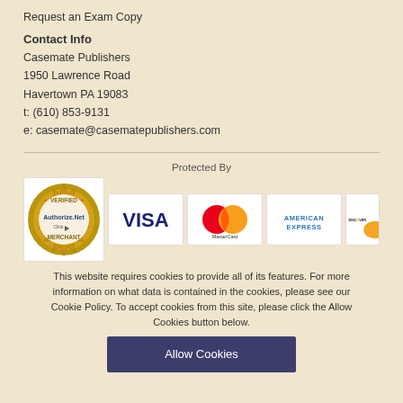Request an Exam Copy
Contact Info
Casemate Publishers
1950 Lawrence Road
Havertown PA 19083
t: (610) 853-9131
e: casemate@casematepublishers.com
[Figure (logo): Payment processor logos: Authorize.Net Verified Merchant, VISA, MasterCard, American Express, Discover]
This website requires cookies to provide all of its features. For more information on what data is contained in the cookies, please see our Cookie Policy. To accept cookies from this site, please click the Allow Cookies button below.
Allow Cookies